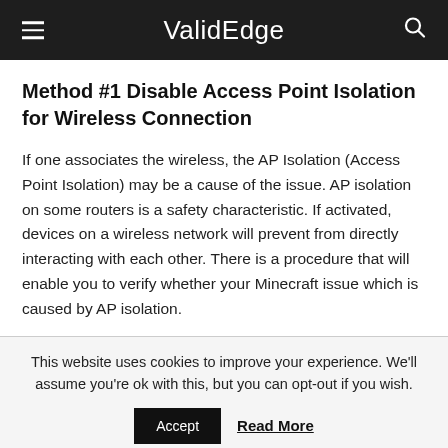ValidEdge
Method #1 Disable Access Point Isolation for Wireless Connection
If one associates the wireless, the AP Isolation (Access Point Isolation) may be a cause of the issue. AP isolation on some routers is a safety characteristic. If activated, devices on a wireless network will prevent from directly interacting with each other. There is a procedure that will enable you to verify whether your Minecraft issue which is caused by AP isolation.
This website uses cookies to improve your experience. We'll assume you're ok with this, but you can opt-out if you wish.